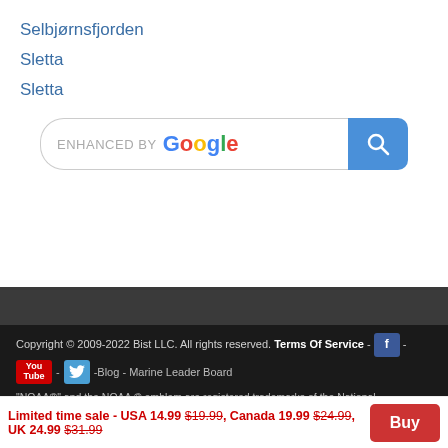Selbjørnsfjorden
Sletta
Sletta
[Figure (screenshot): Google enhanced search bar with blue search button]
Copyright © 2009-2022 Bist LLC. All rights reserved. Terms Of Service - [Facebook icon] - [YouTube icon] - [Twitter icon] -Blog - Marine Leader Board
"NOAA®" and the NOAA ® emblem are registered trademarks of the National
Limited time sale - USA 14.99 $19.99, Canada 19.99 $24.99, UK 24.99 $31.99